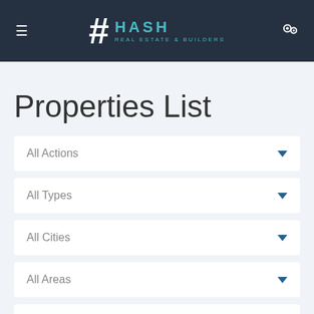HASH REAL ESTATE & BUILDERS — navigation header with hamburger menu and settings icon
Properties List
All Actions
All Types
All Cities
All Areas